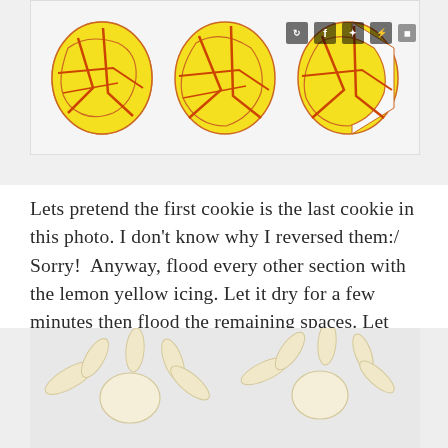[Figure (photo): Three decorated sugar cookies with yellow and red/orange marbled icing pattern, shown in a row on a light background. Social media icons visible in top right corner.]
Lets pretend the first cookie is the last cookie in this photo. I don't know why I reversed them:/ Sorry!  Anyway, flood every other section with the lemon yellow icing. Let it dry for a few minutes then flood the remaining spaces. Let that dry for a couple of hours before you airbrush them.
[Figure (photo): Cookie decorating step showing star/flower shaped cookie outlines with pale yellow icing, partially decorated, on a light gray background.]